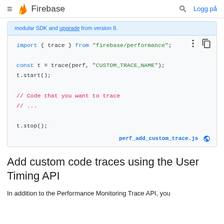≡ Firebase  🔍 Logg på
modular SDK and upgrade from version 8.
[Figure (screenshot): Code block showing Firebase Performance custom trace JS code: import { trace } from "firebase/performance"; const t = trace(perf, "CUSTOM_TRACE_NAME"); t.start(); // Code that you want to trace // ... t.stop();]
perf_add_custom_trace.js
Add custom code traces using the User Timing API
In addition to the Performance Monitoring Trace API, you